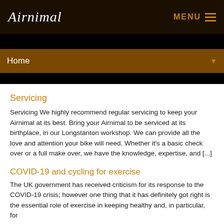Airnimal   MENU
Home
Servicing
Servicing We highly recommend regular servicing to keep your Airnimal at its best. Bring your Airnimal to be serviced at its birthplace, in our Longstanton workshop. We can provide all the love and attention your bike will need. Whether it’s a basic check over or a full make over, we have the knowledge, expertise, and [...]
COVID-19 and cycling for exercise
The UK government has received criticism for its response to the COVID-19 crisis; however one thing that it has definitely got right is the essential role of exercise in keeping healthy and, in particular, for